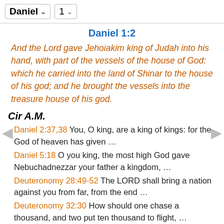Daniel 1
Daniel 1:2
And the Lord gave Jehoiakim king of Judah into his hand, with part of the vessels of the house of God: which he carried into the land of Shinar to the house of his god; and he brought the vessels into the treasure house of his god.
Cir A.M.
Daniel 2:37,38 You, O king, are a king of kings: for the God of heaven has given …
Daniel 5:18 O you king, the most high God gave Nebuchadnezzar your father a kingdom, …
Deuteronomy 28:49-52 The LORD shall bring a nation against you from far, from the end …
Deuteronomy 32:30 How should one chase a thousand, and two put ten thousand to flight, …
Judges 2:14 And the anger of the LORD was hot …